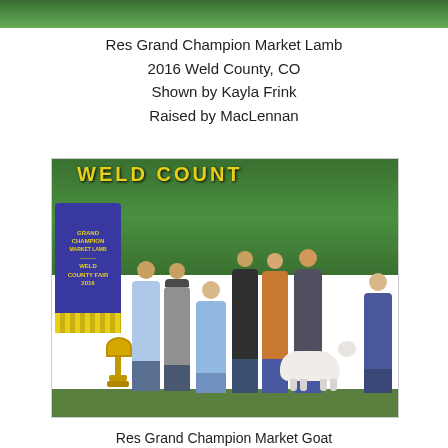[Figure (photo): Partial photo at top of page showing green background/banner from Weld County Fair]
Res Grand Champion Market Lamb
2016 Weld County, CO
Shown by Kayla Frink
Raised by MacLennan
[Figure (photo): Group photo at 2016 Weld County Fair showing multiple people standing behind a Grand Champion Market Lamb with a purple Grand Champion banner and trophy. Banner reads GRAND CHAMPION MARKET LAMB WELD COUNTY FAIR 2016.]
Res Grand Champion Market Goat